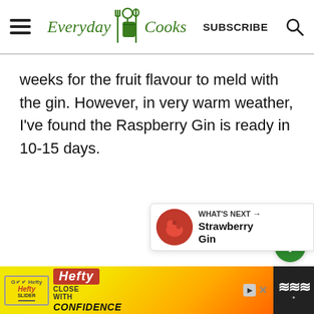Everyday Cooks — SUBSCRIBE
weeks for the fruit flavour to meld with the gin. However, in very warm weather, I've found the Raspberry Gin is ready in 10-15 days.
[Figure (other): Heart/save button (green circle with heart icon) and share button (white circle with share icon)]
[Figure (other): What's Next panel showing Strawberry Gin with thumbnail image]
[Figure (other): Hefty Slider advertisement banner at bottom of page]